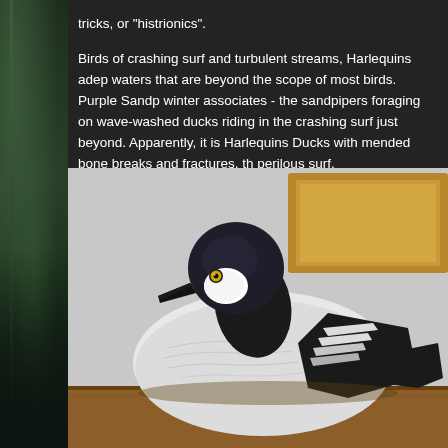tricks, or "histrionics".
Birds of crashing surf and turbulent streams, Harlequins adep waters that are beyond the scope of most birds. Purple Sandp winter associates - the sandpipers foraging on wave-washed ducks riding in the crashing surf just beyond. Apparently, it is Harlequins Ducks with mended bone breaks and fractures, th perilous surf.
[Figure (photo): A carved wooden duck decoy with black head featuring a white cheek patch and yellow eye, white body with black and white wing markings, sitting on a wooden surface against a wall with a framed picture in the background.]